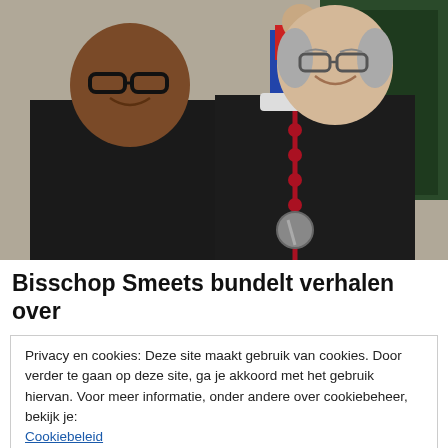[Figure (photo): Two men posing together outdoors. The man on the left wears a black shirt and glasses. The man on the right, wearing bishop's vestments (black cassock with red trim, pectoral cross), is smiling. A person in a blue and red outfit is visible in the background near a dark green door.]
Bisschop Smeets bundelt verhalen over
Privacy en cookies: Deze site maakt gebruik van cookies. Door verder te gaan op deze site, ga je akkoord met het gebruik hiervan. Voor meer informatie, onder andere over cookiebeheer, bekijk je: Cookiebeleid
Sluiten en bevestigen
gemaakt over de verrijzenis van Jezus. De ongeneeslijk zieke